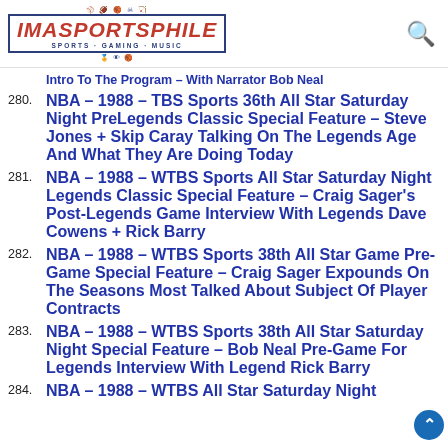IMASPORTSPHILE
279. Intro To The Program – With Narrator Bob Neal
280. NBA – 1988 – TBS Sports 36th All Star Saturday Night PreLegends Classic Special Feature – Steve Jones + Skip Caray Talking On The Legends Age And What They Are Doing Today
281. NBA – 1988 – WTBS Sports All Star Saturday Night Legends Classic Special Feature – Craig Sager's Post-Legends Game Interview With Legends Dave Cowens + Rick Barry
282. NBA – 1988 – WTBS Sports 38th All Star Game Pre-Game Special Feature – Craig Sager Expounds On The Seasons Most Talked About Subject Of Player Contracts
283. NBA – 1988 – WTBS Sports 38th All Star Saturday Night Special Feature – Bob Neal Pre-Game For Legends Interview With Legend Rick Barry
284. NBA – 1988 – WTBS All Star Saturday Night